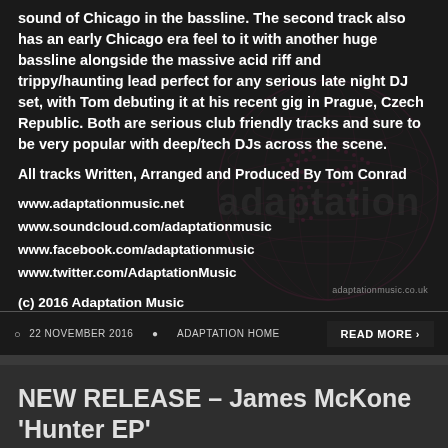sound of Chicago in the bassline. The second track also has an early Chicago era feel to it with another huge bassline alongside the massive acid riff and trippy/haunting lead perfect for any serious late night DJ set, with Tom debuting it at his recent gig in Prague, Czech Republic. Both are serious club friendly tracks and sure to be very popular with deep/tech DJs across the scene.
All tracks Written, Arranged and Produced By Tom Conrad
www.adaptationmusic.net
www.soundcloud.com/adaptationmusic
www.facebook.com/adaptationmusic
www.twitter.com/AdaptationMusic
(c) 2016 Adaptation Music
(p) 2016 Adaptation Music
22 NOVEMBER 2016  ADAPTATION HOME  READ MORE >
NEW RELEASE – James McKone 'Hunter EP'